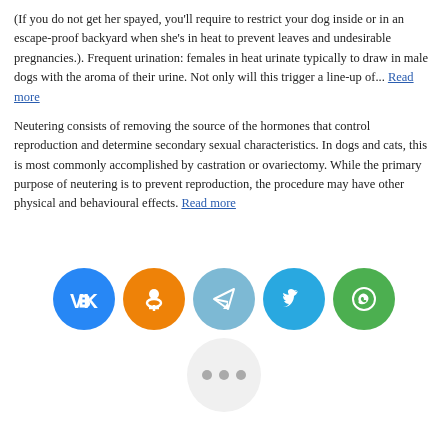(If you do not get her spayed, you'll require to restrict your dog inside or in an escape-proof backyard when she's in heat to prevent leaves and undesirable pregnancies.). Frequent urination: females in heat urinate typically to draw in male dogs with the aroma of their urine. Not only will this trigger a line-up of... Read more
Neutering consists of removing the source of the hormones that control reproduction and determine secondary sexual characteristics. In dogs and cats, this is most commonly accomplished by castration or ovariectomy. While the primary purpose of neutering is to prevent reproduction, the procedure may have other physical and behavioural effects. Read more
[Figure (infographic): Row of five social sharing buttons (circular icons): VK (blue), Odnoklassniki (orange), Telegram (light blue), Twitter (blue), WhatsApp (green), followed by a light grey circle with three dots indicating more options.]